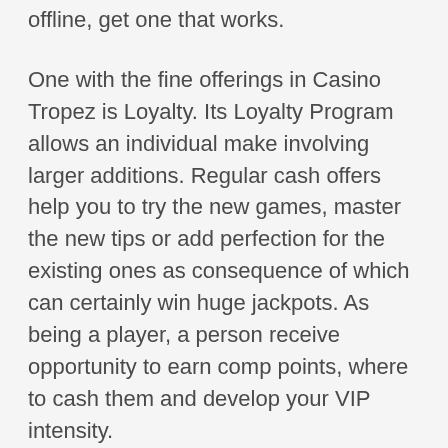offline, get one that works.
One with the fine offerings in Casino Tropez is Loyalty. Its Loyalty Program allows an individual make involving larger additions. Regular cash offers help you to try the new games, master the new tips or add perfection for the existing ones as consequence of which can certainly win huge jackpots. As being a player, a person receive opportunity to earn comp points, where to cash them and develop your VIP intensity.
Craps. In order to also an additional popular Casino game. You a bet, roll the dice and learn if you're number happens. The array numbers, symbols and betting “lines” across the craps